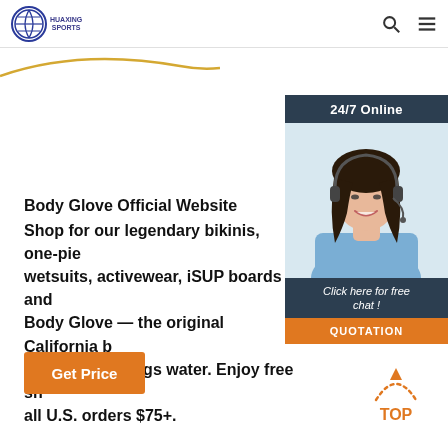HUAXING SPORTS — navigation header with logo, search and menu icons
[Figure (photo): Customer service representative woman with headset, smiling, with '24/7 Online' banner and 'Click here for free chat!' text and QUOTATION button]
Body Glove Official Website
Shop for our legendary bikinis, one-piece wetsuits, activewear, iSUP boards and Body Glove — the original California b surf and all things water. Enjoy free sh all U.S. orders $75+.
Get Price
[Figure (illustration): Orange 'TOP' back-to-top button with dotted arc arrow]